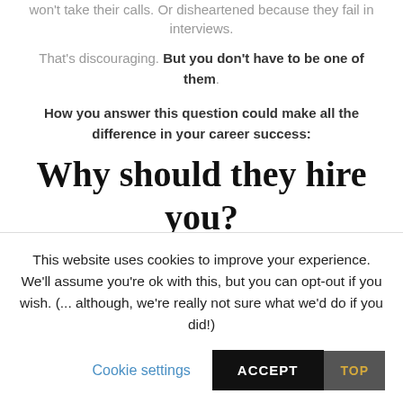won't take their calls. Or disheartened because they fail in interviews.
That's discouraging. But you don't have to be one of them.
How you answer this question could make all the difference in your career success:
Why should they hire you?
Here is a FACT of today's executive job market: Competition
This website uses cookies to improve your experience. We'll assume you're ok with this, but you can opt-out if you wish. (... although, we're really not sure what we'd do if you did!)
Cookie settings
ACCEPT
TOP